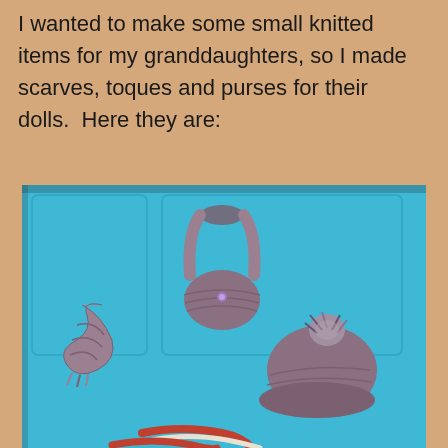I wanted to make some small knitted items for my granddaughters, so I made scarves, toques and purses for their dolls.  Here they are:
[Figure (photo): Photo of small hand-knitted items for dolls displayed on a bright blue surface: a knitted purse/bag with a strap hanging up, a knitted scarf, a knitted toque (hat) with a pom-pom, and partially visible at the bottom another knitted item. All items are in a mauve/purple and grey marled yarn.]